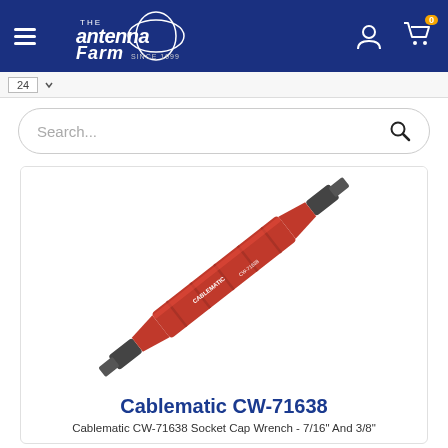The Antenna Farm - Since 1999
24
Search...
[Figure (photo): Red and black double-ended socket cap wrench tool (Cablematic CW-71638), shown diagonally on white background. The tool has a red cylindrical body with ridged grips and black hexagonal socket ends on both sides.]
Cablematic CW-71638
Cablematic CW-71638 Socket Cap Wrench - 7/16" And 3/8"